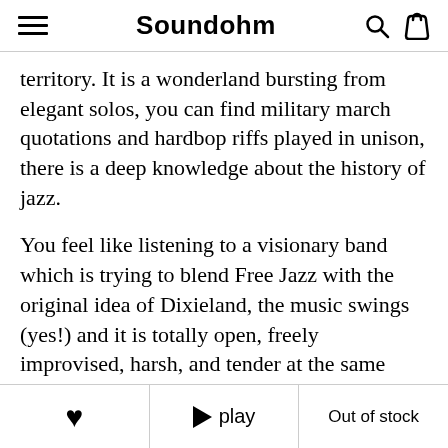Soundohm
territory. It is a wonderland bursting from elegant solos, you can find military march quotations and hardbop riffs played in unison, there is a deep knowledge about the history of jazz.
You feel like listening to a visionary band which is trying to blend Free Jazz with the original idea of Dixieland, the music swings (yes!) and it is totally open, freely improvised, harsh, and tender at the same time. The more you listen to it, the more details you find and the more you'll like it. Shake on it!"-Martin Schray, FreeJazz-Stef
♥  ▶ play  Out of stock